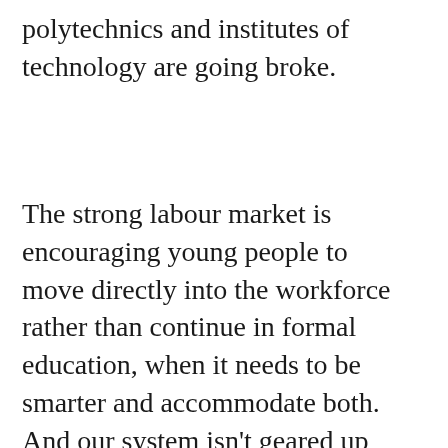polytechnics and institutes of technology are going broke.
The strong labour market is encouraging young people to move directly into the workforce rather than continue in formal education, when it needs to be smarter and accommodate both. And our system isn't geared up for the